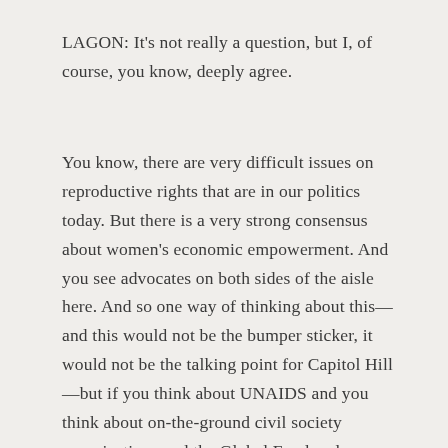LAGON: It's not really a question, but I, of course, you know, deeply agree.
You know, there are very difficult issues on reproductive rights that are in our politics today. But there is a very strong consensus about women's economic empowerment. And you see advocates on both sides of the aisle here. And so one way of thinking about this—and this would not be the bumper sticker, it would not be the talking point for Capitol Hill—but if you think about UNAIDS and you think about on-the-ground civil society organizations and the Global Fund and so on, the goal here for females is their agency, to be able to thrive.